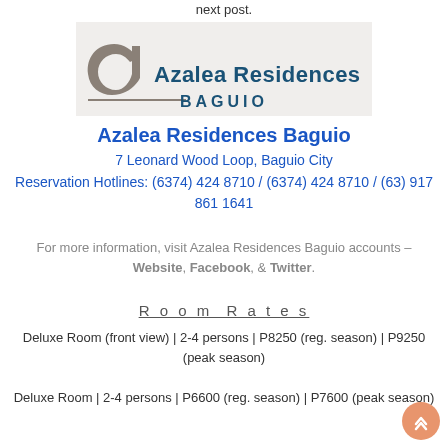next post.
[Figure (logo): Azalea Residences Baguio logo with stylized 'a' and teal text]
Azalea Residences Baguio
7 Leonard Wood Loop, Baguio City
Reservation Hotlines: (6374) 424 8710 / (6374) 424 8710 / (63) 917 861 1641
For more information, visit Azalea Residences Baguio accounts – Website, Facebook, & Twitter.
Room Rates
Deluxe Room (front view) | 2-4 persons | P8250 (reg. season) | P9250 (peak season)
Deluxe Room | 2-4 persons | P6600 (reg. season) | P7600 (peak season)